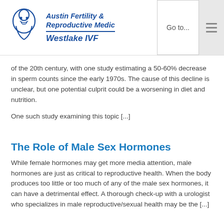Austin Fertility & Reproductive Medicine Westlake IVF
of the 20th century, with one study estimating a 50-60% decrease in sperm counts since the early 1970s. The cause of this decline is unclear, but one potential culprit could be a worsening in diet and nutrition.

One such study examining this topic [...]
The Role of Male Sex Hormones
While female hormones may get more media attention, male hormones are just as critical to reproductive health. When the body produces too little or too much of any of the male sex hormones, it can have a detrimental effect. A thorough check-up with a urologist who specializes in male reproductive/sexual health may be the [...]